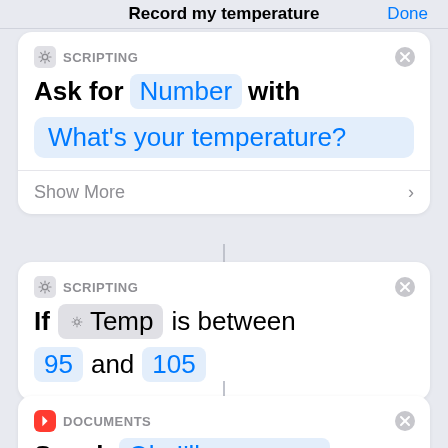Record my temperature Done
[Figure (screenshot): iOS Shortcuts app card: SCRIPTING - Ask for Number with What's your temperature?]
[Figure (screenshot): iOS Shortcuts app card: SCRIPTING - If Temp is between 95 and 105]
[Figure (screenshot): iOS Shortcuts app card (partial): DOCUMENTS - Speak Ok, I'll save your]